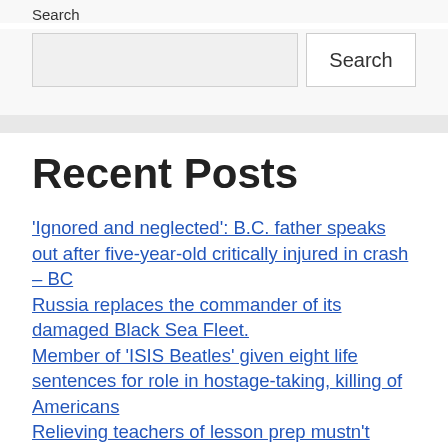Search
Search [input field] Search [button]
Recent Posts
‘Ignored and neglected’: B.C. father speaks out after five-year-old critically injured in crash – BC
Russia replaces the commander of its damaged Black Sea Fleet.
Member of ‘ISIS Beatles’ given eight life sentences for role in hostage-taking, killing of Americans
Relieving teachers of lesson prep mustn’t